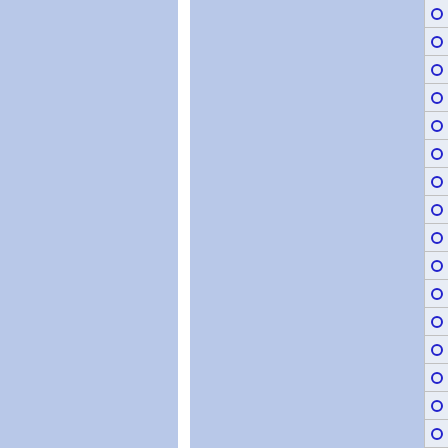[Figure (other): Page with three column-like regions: two large blue-gray panels separated by a white vertical divider, and a narrow right panel containing a vertical list of radio button circles (approximately 16 rows) with light gray background and thin horizontal dividers between each row.]